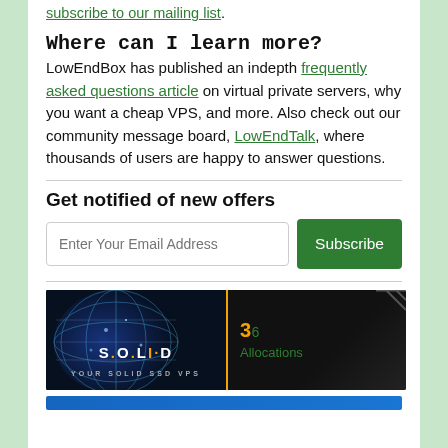subscribe to our mailing list.
Where can I learn more?
LowEndBox has published an indepth frequently asked questions article on virtual private servers, why you want a cheap VPS, and more. Also check out our community message board, LowEndTalk, where thousands of users are happy to answer questions.
Get notified of new offers
Enter Your Email Address
Subscribe
[Figure (photo): Advertisement banner showing SOLiD VPS with a globe graphic on the left side and green text on the right side with an orange number 3.]
[Figure (other): Blue bar at bottom of page, partial view of another advertisement.]